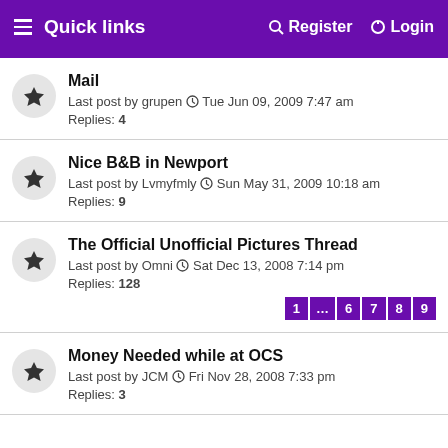Quick links  Register  Login
Mail
Last post by grupen  Tue Jun 09, 2009 7:47 am
Replies: 4
Nice B&B in Newport
Last post by Lvmyfmly  Sun May 31, 2009 10:18 am
Replies: 9
The Official Unofficial Pictures Thread
Last post by Omni  Sat Dec 13, 2008 7:14 pm
Replies: 128
Pages: 1 ... 6 7 8 9
Money Needed while at OCS
Last post by JCM  Fri Nov 28, 2008 7:33 pm
Replies: 3